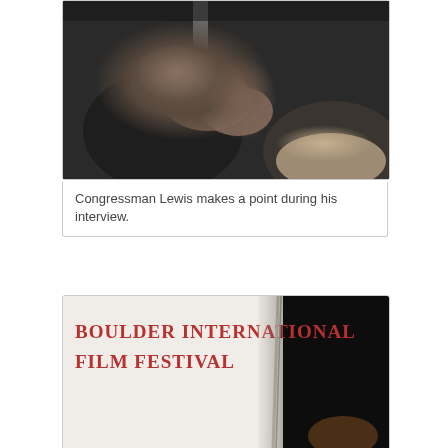[Figure (photo): Congressman Lewis gesturing with his hands during an interview, wearing a dark suit]
Congressman Lewis makes a point during his interview.
[Figure (photo): Boulder International Film Festival signage/banner visible on a large white backdrop, with a dark background on the right side]